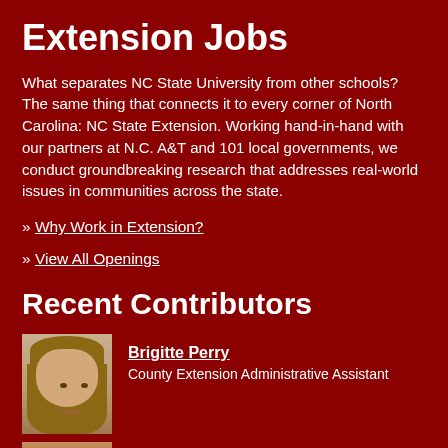Extension Jobs
What separates NC State University from other schools? The same thing that connects it to every corner of North Carolina: NC State Extension. Working hand-in-hand with our partners at N.C. A&T and 101 local governments, we conduct groundbreaking research that addresses real-world issues in communities across the state.
» Why Work in Extension?
» View All Openings
Recent Contributors
Brigitte Perry
County Extension Administrative Assistant
[Figure (photo): Headshot photo of Brigitte Perry, a woman with long brown hair, smiling]